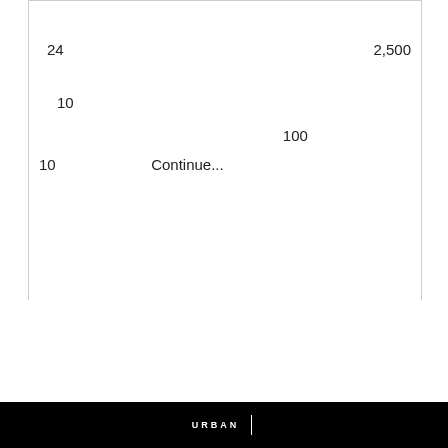| 24 |  |  | 2,500 |
| 10 |  |  |  |
|  |  | 100 |  |
| 10 |  | Continue... |  |
URBAN